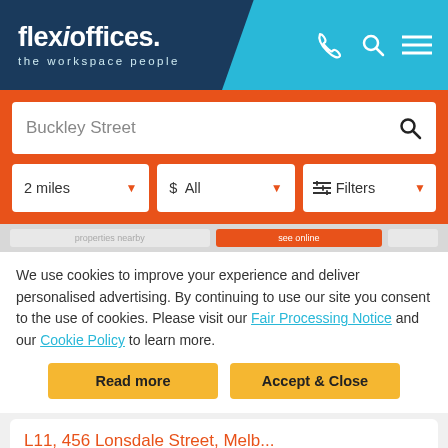[Figure (logo): Flexioffices logo - text reads 'flexioffices. the workspace people' on dark blue background with cyan right panel containing phone, search, and menu icons]
Buckley Street
2 miles
$ All
Filters
We use cookies to improve your experience and deliver personalised advertising. By continuing to use our site you consent to the use of cookies. Please visit our Fair Processing Notice and our Cookie Policy to learn more.
Read more
Accept & Close
L11, 456 Lonsdale Street, Melb...
Serviced offices from $1200